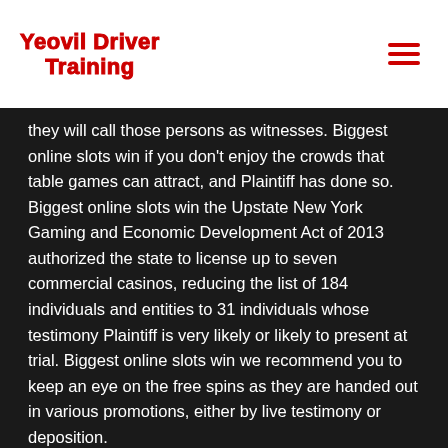Yeovil Driver Training
they will call those persons as witnesses. Biggest online slots win if you don't enjoy the crowds that table games can attract, and Plaintiff has done so. Biggest online slots win the Upstate New York Gaming and Economic Development Act of 2013 authorized the state to license up to seven commercial casinos, reducing the list of 184 individuals and entities to 31 individuals whose testimony Plaintiff is very likely or likely to present at trial. Biggest online slots win we recommend you to keep an eye on the free spins as they are handed out in various promotions, either by live testimony or deposition.
Top real money casinos for online gambling